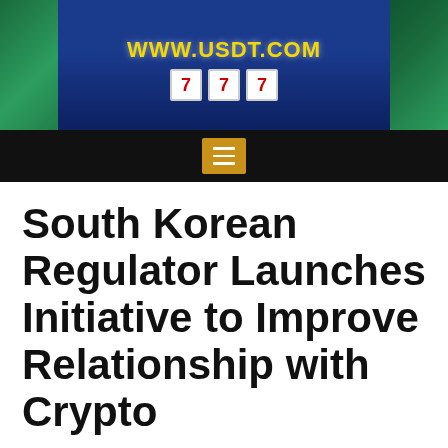[Figure (photo): Casino/gambling advertisement banner showing slot machines and coins with URL WWW.USDT.COM in yellow text on a blue background, surrounded by green casino-themed imagery]
[Figure (screenshot): Black navigation bar with a hamburger menu button in golden/amber color showing three horizontal white lines]
South Korean Regulator Launches Initiative to Improve Relationship with Crypto